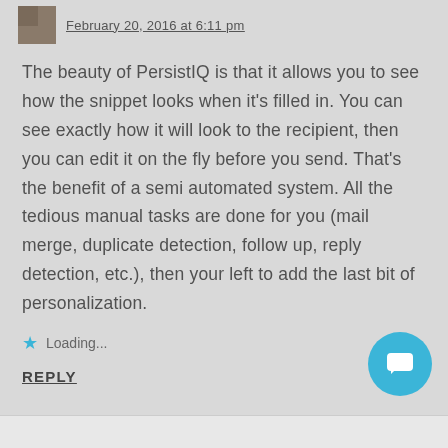February 20, 2016 at 6:11 pm
The beauty of PersistIQ is that it allows you to see how the snippet looks when it's filled in. You can see exactly how it will look to the recipient, then you can edit it on the fly before you send. That's the benefit of a semi automated system. All the tedious manual tasks are done for you (mail merge, duplicate detection, follow up, reply detection, etc.), then your left to add the last bit of personalization.
Loading...
REPLY